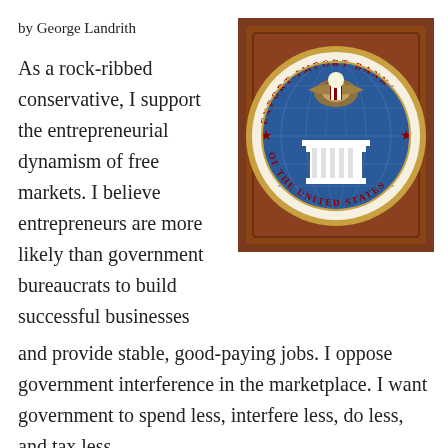by George Landrith
As a rock-ribbed conservative, I support the entrepreneurial dynamism of free markets. I believe entrepreneurs are more likely than government bureaucrats to build successful businesses and provide stable, good-paying jobs. I oppose government interference in the marketplace. I want government to spend less, interfere less, do less, and tax less.
[Figure (photo): Photo of the Export-Import Bank of the United States official seal mounted on a wooden door panel. The circular seal features an eagle at the top, a globe, a classical building/temple in the center, red stars on either side, and red text reading 'EXPORT-IMPORT BANK OF THE UNITED STATES' around the border. The seal has a gold/brass rim.]